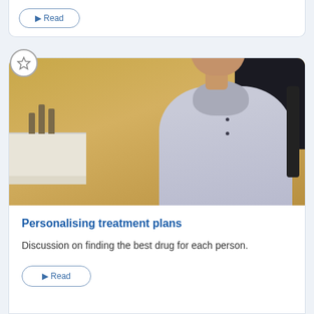[Figure (screenshot): Top card fragment showing a button with rounded border, partially visible at top of page]
[Figure (photo): Video thumbnail showing a man in a light blue shirt sitting and speaking, in an office/clinic setting with warm beige background and dark window]
Personalising treatment plans
Discussion on finding the best drug for each person.
[Figure (screenshot): Partially visible rounded button at the bottom of the card]